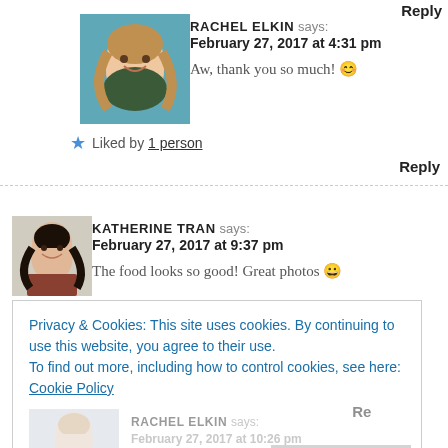Reply
[Figure (photo): Profile photo of Rachel Elkin, smiling woman with long hair, teal background]
RACHEL ELKIN says: February 27, 2017 at 4:31 pm
Aw, thank you so much! 😊
★ Liked by 1 person
Reply
[Figure (photo): Profile photo of Katherine Tran, smiling woman with dark hair, rust-colored top]
KATHERINE TRAN says: February 27, 2017 at 9:37 pm
The food looks so good! Great photos 🙂
http://www.myclusterofthoughts.com/
Privacy & Cookies: This site uses cookies. By continuing to use this website, you agree to their use.
To find out more, including how to control cookies, see here: Cookie Policy
Reply
[Figure (photo): Profile photo of Rachel Elkin (ghosted/faded)]
RACHEL ELKIN says: February 27, 2017 at 10:26 pm
Thank you! 🙂
Close and accept